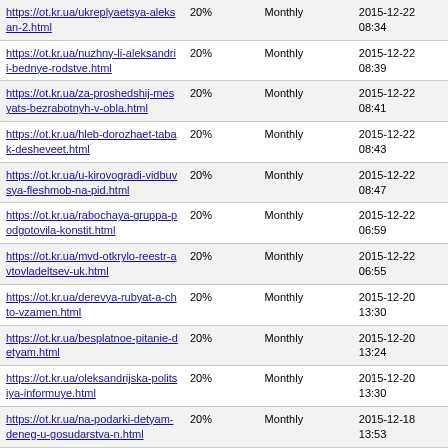| https://ot.kr.ua/ukreplyaetsya-aleksan-2.html | 20% | Monthly | 2015-12-22 08:34 |
| https://ot.kr.ua/nuzhny-li-aleksandrii-bednye-rodstve.html | 20% | Monthly | 2015-12-22 08:39 |
| https://ot.kr.ua/za-proshedshij-mesyats-bezrabotnyh-v-obla.html | 20% | Monthly | 2015-12-22 08:41 |
| https://ot.kr.ua/hleb-dorozhaet-tabak-desheveet.html | 20% | Monthly | 2015-12-22 08:43 |
| https://ot.kr.ua/u-kirovogradi-vidbuvsya-fleshmob-na-pid.html | 20% | Monthly | 2015-12-22 08:47 |
| https://ot.kr.ua/rabochaya-gruppa-podgotovila-konstit.html | 20% | Monthly | 2015-12-22 06:59 |
| https://ot.kr.ua/mvd-otkrylo-reestr-avtovladeltsev-uk.html | 20% | Monthly | 2015-12-22 06:55 |
| https://ot.kr.ua/derevya-rubyat-a-chto-vzamen.html | 20% | Monthly | 2015-12-20 13:30 |
| https://ot.kr.ua/besplatnoe-pitanie-detyam.html | 20% | Monthly | 2015-12-20 13:24 |
| https://ot.kr.ua/oleksandrijska-politsiya-informuye.html | 20% | Monthly | 2015-12-20 13:30 |
| https://ot.kr.ua/na-podarki-detyam-deneg-u-gosudarstva-n.html | 20% | Monthly | 2015-12-18 13:53 |
| https://ot.kr.ua/urozhaj-v-rajone-i-oblasti-pod-ugrozoj.html | 20% | Monthly | 2015-12-18 13:47 |
| https://ot.kr.ua/v-rife-poyavilis-angely.html | 20% | Monthly | 2015-12-18 13:40 |